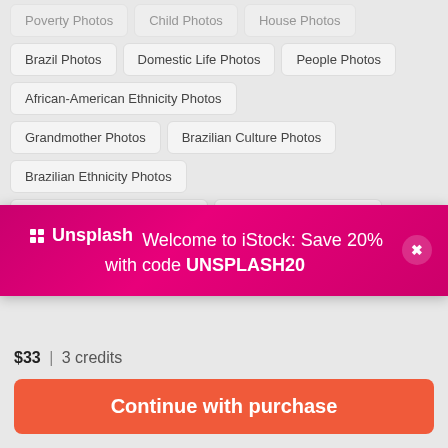Brazil Photos
Domestic Life Photos
People Photos
African-American Ethnicity Photos
Grandmother Photos
Brazilian Culture Photos
Brazilian Ethnicity Photos
Developing Countries Photos
Lap - Body Area Photos
[Figure (screenshot): Unsplash promotional banner overlay on iStock: 'Welcome to iStock: Save 20% with code UNSPLASH20']
$33 | 3 credits
Continue with purchase